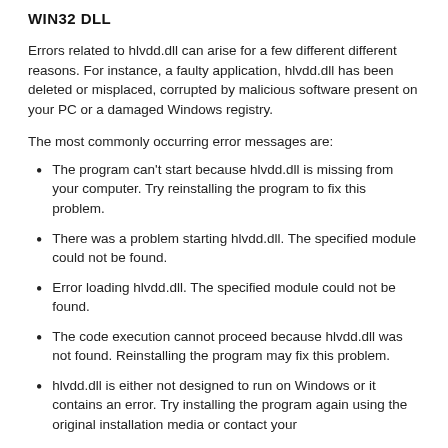WIN32 DLL
Errors related to hlvdd.dll can arise for a few different different reasons. For instance, a faulty application, hlvdd.dll has been deleted or misplaced, corrupted by malicious software present on your PC or a damaged Windows registry.
The most commonly occurring error messages are:
The program can't start because hlvdd.dll is missing from your computer. Try reinstalling the program to fix this problem.
There was a problem starting hlvdd.dll. The specified module could not be found.
Error loading hlvdd.dll. The specified module could not be found.
The code execution cannot proceed because hlvdd.dll was not found. Reinstalling the program may fix this problem.
hlvdd.dll is either not designed to run on Windows or it contains an error. Try installing the program again using the original installation media or contact your